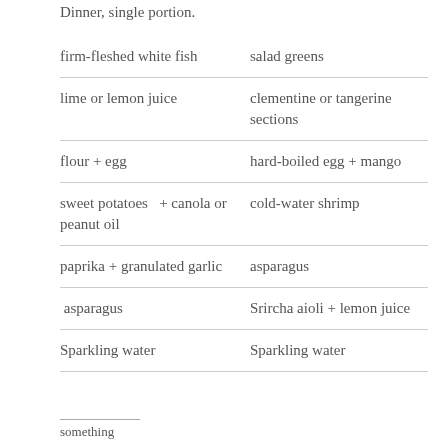Dinner, single portion.
| firm-fleshed white fish | salad greens |
| lime or lemon juice | clementine or tangerine sections |
| flour + egg | hard-boiled egg + mango |
| sweet potatoes  + canola or peanut oil | cold-water shrimp |
| paprika + granulated garlic | asparagus |
| asparagus | Srircha aioli + lemon juice |
| Sparkling water | Sparkling water |
something